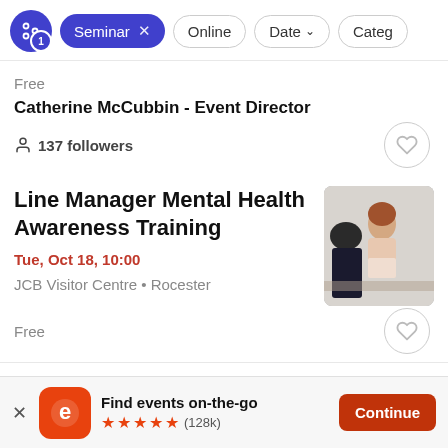Filter bar: Seminar (active), Online, Date, Categ...
Free
Catherine McCubbin - Event Director
137 followers
Line Manager Mental Health Awareness Training
Tue, Oct 18, 10:00
JCB Visitor Centre • Rocester
Free
[Figure (photo): Two people in conversation, woman smiling, man with dark hair from behind]
Find events on-the-go ★★★★★ (128k)
Continue